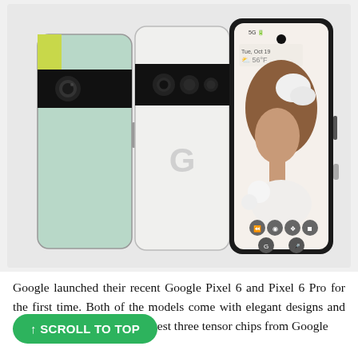[Figure (photo): Product photo of Google Pixel 6 and Pixel 6 Pro smartphones. Three phones shown: a mint/green Pixel 6 on the left, a white/chalk Pixel 6 in the middle showing the back with a G logo and camera bar, and a Pixel 6 Pro on the right showing the front screen with a woman's portrait on the lockscreen. Background is light gray.]
Google launched their recent Google Pixel 6 and Pixel 6 Pro for the first time. Both of the models come with elegant designs and amazing cameras with the latest three tensor chips from Google...